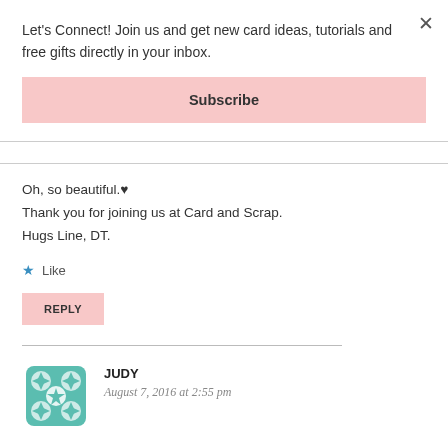Let's Connect! Join us and get new card ideas, tutorials and free gifts directly in your inbox.
Subscribe
Oh, so beautiful.♥
Thank you for joining us at Card and Scrap.
Hugs Line, DT.
Like
REPLY
JUDY
August 7, 2016 at 2:55 pm